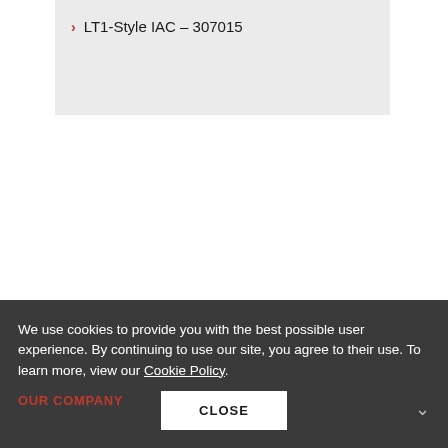LT1-Style IAC – 307015
We use cookies to provide you with the best possible user experience. By continuing to use our site, you agree to their use. To learn more, view our Cookie Policy.
OUR COMPANY